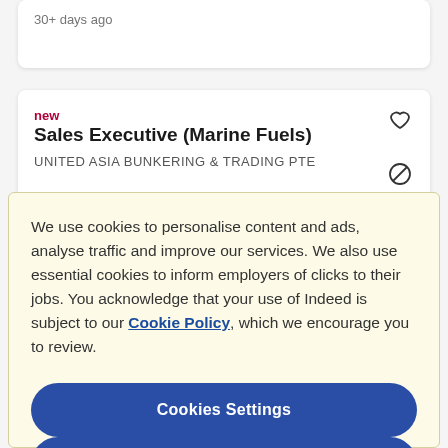30+ days ago
new
Sales Executive (Marine Fuels)
UNITED ASIA BUNKERING & TRADING PTE
We use cookies to personalise content and ads, analyse traffic and improve our services. We also use essential cookies to inform employers of clicks to their jobs. You acknowledge that your use of Indeed is subject to our Cookie Policy, which we encourage you to review.
Cookies Settings
Reject All
Accept All Cookies